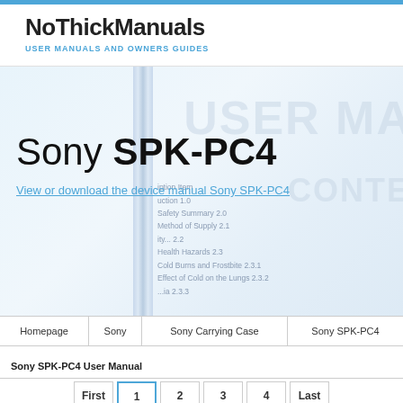NoThickManuals — USER MANUALS AND OWNERS GUIDES
[Figure (photo): Background image of a user manual document with spiral binder, showing table of contents text and 'USER MANUAL' / 'CONTE' watermark text overlay]
Sony SPK-PC4
View or download the device manual Sony SPK-PC4
| Homepage | Sony | Sony Carrying Case | Sony SPK-PC4 |
| --- | --- | --- | --- |
Sony SPK-PC4 User Manual
First
1
2
3
4
Last